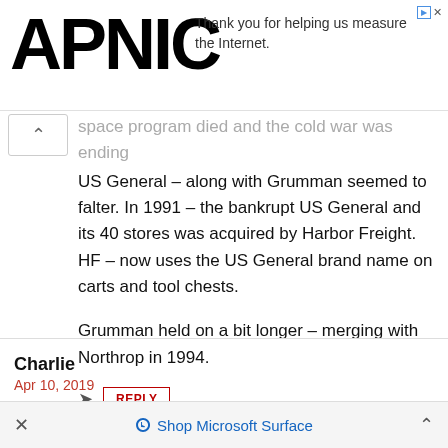APNIC — Thank you for helping us measure the Internet.
space program died and the cold war was ending US General – along with Grumman seemed to falter. In 1991 – the bankrupt US General and its 40 stores was acquired by Harbor Freight. HF – now uses the US General brand name on carts and tool chests.
Grumman held on a bit longer – merging with Northrop in 1994.
REPLY
Charlie
Apr 10, 2019
You could buy 10 Harbor Freight carts with 3 shelves
× Shop Microsoft Surface ^